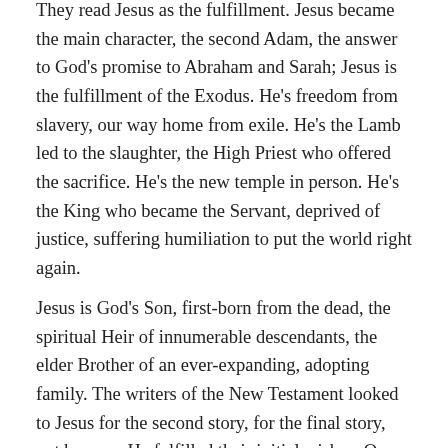They read Jesus as the fulfillment. Jesus became the main character, the second Adam, the answer to God's promise to Abraham and Sarah; Jesus is the fulfillment of the Exodus. He's freedom from slavery, our way home from exile. He's the Lamb led to the slaughter, the High Priest who offered the sacrifice. He's the new temple in person. He's the King who became the Servant, deprived of justice, suffering humiliation to put the world right again.
Jesus is God's Son, first-born from the dead, the spiritual Heir of innumerable descendants, the elder Brother of an ever-expanding, adopting family. The writers of the New Testament looked to Jesus for the second story, for the final story, not because He fulfilled their initial wishes. On the contrary, whatever wishes they had for self-fulfillment died with Him, when He was crucified. Jesus became their second